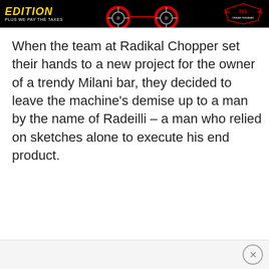[Figure (infographic): Advertisement banner with black background. Left side shows 'EDITION' in bold yellow italic text with 'PLUS WE PAY THE TAXES' below in white. Center shows motorcycle wheels (red and black). Right side shows a logo with wings/shield design.]
When the team at Radikal Chopper set their hands to a new project for the owner of a trendy Milani bar, they decided to leave the machine's demise up to a man by the name of Radeilli – a man who relied on sketches alone to execute his end product.
[Figure (other): Bottom advertisement bar with a close (X) button circle on the right side.]